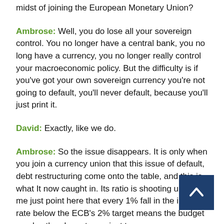midst of joining the European Monetary Union?
Ambrose: Well, you do lose all your sovereign control. You no longer have a central bank, you no long have a currency, you no longer really control your macroeconomic policy. But the difficulty is if you've got your own sovereign currency you're not going to default, you'll never default, because you'll just print it.
David: Exactly, like we do.
Ambrose: So the issue disappears. It is only when you join a currency union that this issue of default, debt restructuring come onto the table, and this is what It now caught in. Its ratio is shooting up. Let me just point here that every 1% fall in the inflation rate below the ECB's 2% target means the budget surplus they have to run just to